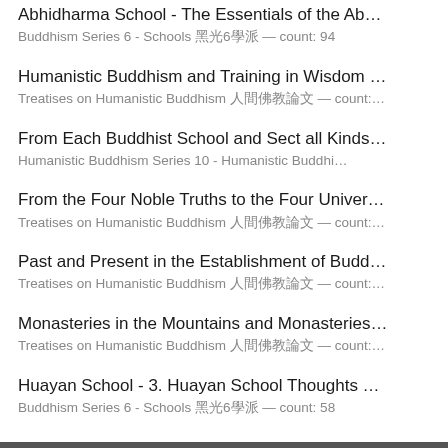Abhidharma School - The Essentials of the Ab...
Buddhism Series 6 - Schools 佛光6學派 — count: 94
Humanistic Buddhism and Training in Wisdom ...
Treatises on Humanistic Buddhism 人間佛教論文 — count:...
From Each Buddhist School and Sect all Kinds...
Humanistic Buddhism Series 10 - Humanistic Buddhi...
From the Four Noble Truths to the Four Univer...
Treatises on Humanistic Buddhism 人間佛教論文 — count:...
Past and Present in the Establishment of Budd...
Treatises on Humanistic Buddhism 人間佛教論文 — count:...
Monasteries in the Mountains and Monasteries...
Treatises on Humanistic Buddhism 人間佛教論文 — count:...
Huayan School - 3. Huayan School Thoughts ...
Buddhism Series 6 - Schools 佛光6學派 — count: 58